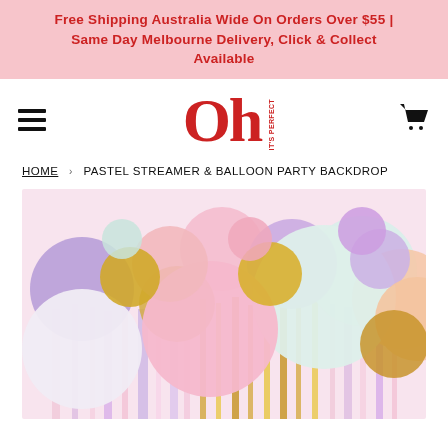Free Shipping Australia Wide On Orders Over $55 | Same Day Melbourne Delivery, Click & Collect Available
[Figure (logo): Oh It's Perfect logo in red serif font]
HOME › PASTEL STREAMER & BALLOON PARTY BACKDROP
[Figure (photo): Pastel streamer and balloon party backdrop featuring pink, purple, mint, peach, and gold balloons arranged over hanging pastel streamers]